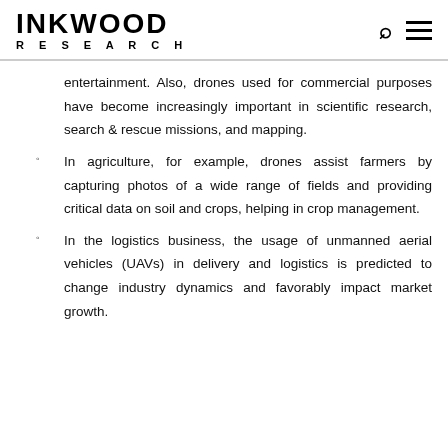INKWOOD RESEARCH
entertainment. Also, drones used for commercial purposes have become increasingly important in scientific research, search & rescue missions, and mapping.
In agriculture, for example, drones assist farmers by capturing photos of a wide range of fields and providing critical data on soil and crops, helping in crop management.
In the logistics business, the usage of unmanned aerial vehicles (UAVs) in delivery and logistics is predicted to change industry dynamics and favorably impact market growth.